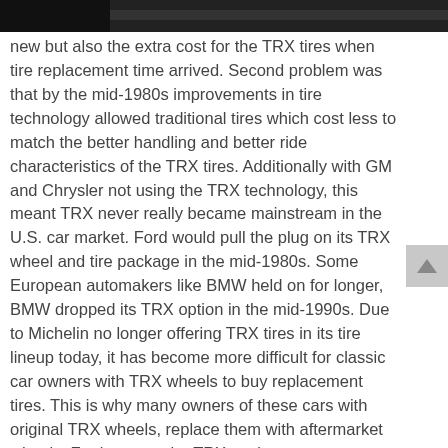[Figure (photo): Partial photo strip at the top of the page, dark/dim image likely showing a car or tires.]
new but also the extra cost for the TRX tires when tire replacement time arrived. Second problem was that by the mid-1980s improvements in tire technology allowed traditional tires which cost less to match the better handling and better ride characteristics of the TRX tires. Additionally with GM and Chrysler not using the TRX technology, this meant TRX never really became mainstream in the U.S. car market. Ford would pull the plug on its TRX wheel and tire package in the mid-1980s. Some European automakers like BMW held on for longer, BMW dropped its TRX option in the mid-1990s. Due to Michelin no longer offering TRX tires in its tire lineup today, it has become more difficult for classic car owners with TRX wheels to buy replacement tires. This is why many owners of these cars with original TRX wheels, replace them with aftermarket wheels. For instance the TRX package was very popular on the 1982-1984 Ford Mustang GT, however finding one of these GTs today with the original TRX wheels has become as difficult as finding a four leaf clover. Fortunately Coker Tire offers brand new TRX tires made from Michelin's original TRX molds in